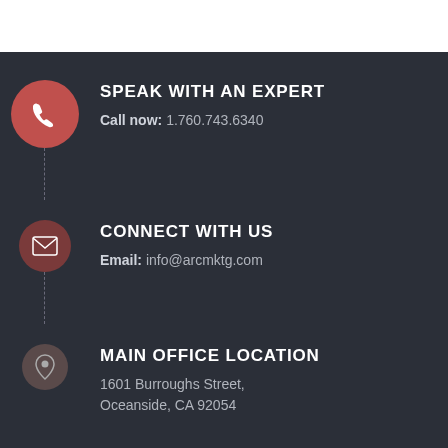SPEAK WITH AN EXPERT
Call now: 1.760.743.6340
CONNECT WITH US
Email: info@arcmktg.com
MAIN OFFICE LOCATION
1601 Burroughs Street, Oceanside, CA 92054